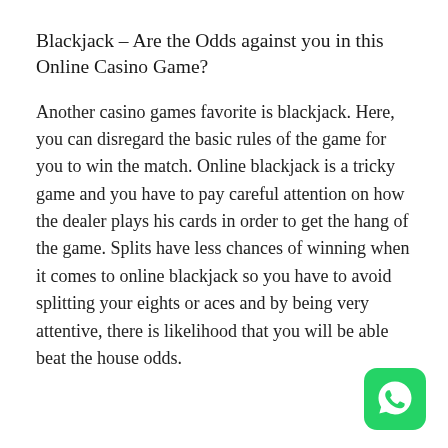Blackjack – Are the Odds against you in this Online Casino Game?
Another casino games favorite is blackjack. Here, you can disregard the basic rules of the game for you to win the match. Online blackjack is a tricky game and you have to pay careful attention on how the dealer plays his cards in order to get the hang of the game. Splits have less chances of winning when it comes to online blackjack so you have to avoid splitting your eights or aces and by being very attentive, there is likelihood that you will be able beat the house odds.
[Figure (logo): WhatsApp logo — green rounded square icon with white phone/chat bubble symbol]